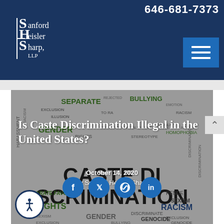646-681-7373
[Figure (logo): Sanford Heisler Sharp LLP law firm logo with stylized SHS letters]
[Figure (screenshot): Navigation menu button (hamburger icon) on blue background]
[Figure (infographic): Word cloud background image with caste discrimination related words including: SEPARATE, BULLYING, GENDER, RIGHTS, SEXISM, RACISM, GENOCIDE, DISCRIMINATION and more]
Is Caste Discrimination Illegal in the United States?
October 14, 2020
By Sanford Heisler Sharp
[Figure (infographic): Social media sharing icons: Facebook, Twitter, Pinterest, LinkedIn]
[Figure (illustration): Accessibility icon button (person in circle)]